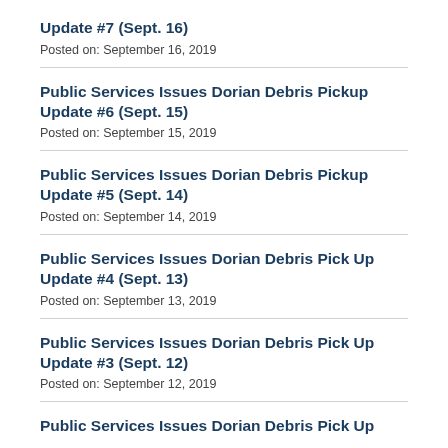Update #7 (Sept. 16)
Posted on: September 16, 2019
Public Services Issues Dorian Debris Pickup Update #6 (Sept. 15)
Posted on: September 15, 2019
Public Services Issues Dorian Debris Pickup Update #5 (Sept. 14)
Posted on: September 14, 2019
Public Services Issues Dorian Debris Pick Up Update #4 (Sept. 13)
Posted on: September 13, 2019
Public Services Issues Dorian Debris Pick Up Update #3 (Sept. 12)
Posted on: September 12, 2019
Public Services Issues Dorian Debris Pick Up Update #2 (Sept. 11)